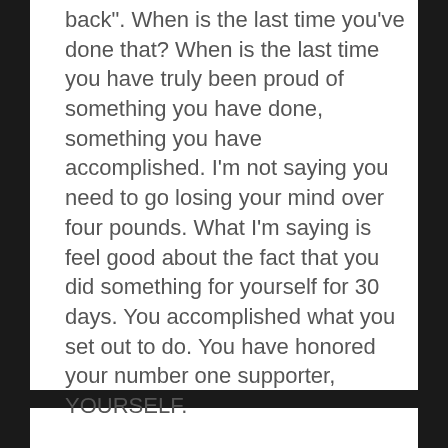back". When is the last time you’ve done that? When is the last time you have truly been proud of something you have done, something you have accomplished. I’m not saying you need to go losing your mind over four pounds. What I’m saying is feel good about the fact that you did something for yourself for 30 days. You accomplished what you set out to do. You have honored your number one supporter, YOURSELF.